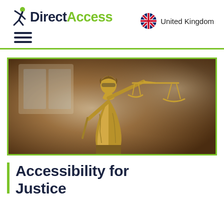Direct Access | United Kingdom
[Figure (photo): Bronze statue of Lady Justice (blindfolded woman holding scales of justice) against a blurred brownish background]
Accessibility for Justice